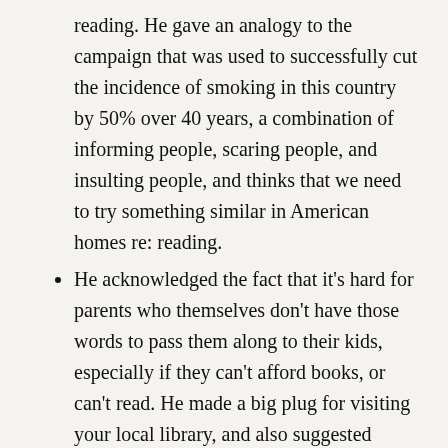reading. He gave an analogy to the campaign that was used to successfully cut the incidence of smoking in this country by 50% over 40 years, a combination of informing people, scaring people, and insulting people, and thinks that we need to try something similar in American homes re: reading.
He acknowledged the fact that it's hard for parents who themselves don't have those words to pass them along to their kids, especially if they can't afford books, or can't read. He made a big plug for visiting your local library, and also suggested books on tape for parents who have trouble reading themselves. But he's not letting these parents off the hook. He stressed that books are a value...